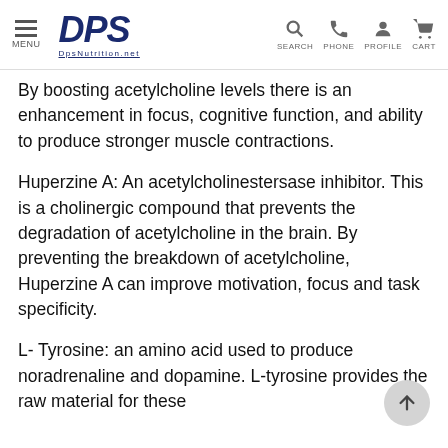MENU | DPS DpsNutrition.net | SEARCH PHONE PROFILE CART
By boosting acetylcholine levels there is an enhancement in focus, cognitive function, and ability to produce stronger muscle contractions.
Huperzine A: An acetylcholinestersase inhibitor. This is a cholinergic compound that prevents the degradation of acetylcholine in the brain. By preventing the breakdown of acetylcholine, Huperzine A can improve motivation, focus and task specificity.
L- Tyrosine: an amino acid used to produce noradrenaline and dopamine. L-tyrosine provides the raw material for these